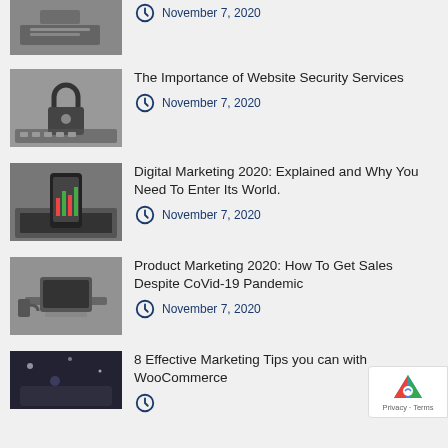[Figure (photo): Hands typing on a laptop keyboard]
November 7, 2020
[Figure (photo): Combination padlock resting on a laptop keyboard]
The Importance of Website Security Services
November 7, 2020
[Figure (photo): Person holding a smartphone with stock charts, laptop in background]
Digital Marketing 2020: Explained and Why You Need To Enter Its World.
November 7, 2020
[Figure (photo): Person working at a desk with a laptop in an office]
Product Marketing 2020: How To Get Sales Despite CoVid-19 Pandemic
November 7, 2020
[Figure (photo): Dark space/tech themed image]
8 Effective Marketing Tips you can with WooCommerce